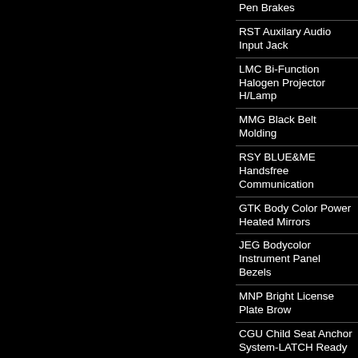| Pen Brakes |
| RST Auxilary Audio Input Jack |
| LMC Bi-Function Halogen Projector H/Lamp |
| MMG Black Belt Molding |
| RSY BLUE&ME Handsfree Communication |
| GTK Body Color Power Heated Mirrors |
| JEG Bodycolor Instrument Panel Bezels |
| MNP Bright License Plate Brow |
| CGU Child Seat Anchor System-LATCH Ready |
| MNC Chrome Door Handles |
| MTN Chrome Interior Door Handles |
| CX8 CORA Tire Press |